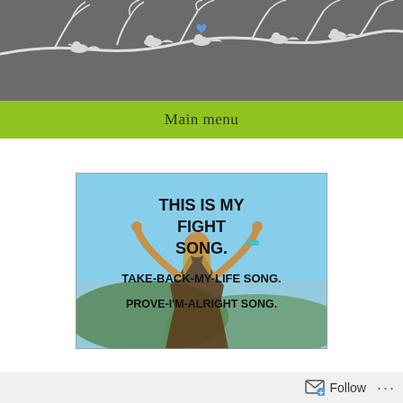[Figure (illustration): Website header banner with grey background showing white silhouette birds on branches, with a small blue heart accent in the center]
Main menu
[Figure (photo): Motivational image of a girl with arms raised against a scenic background, with bold text overlay reading: THIS IS MY FIGHT SONG. TAKE-BACK-MY-LIFE SONG. PROVE-I'M-ALRIGHT SONG.]
Follow